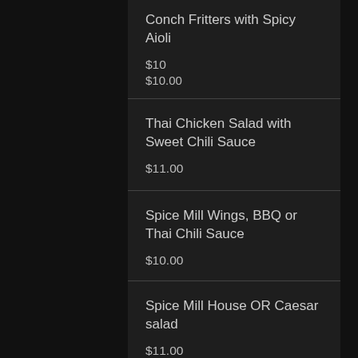Conch Fritters with Spicy Aioli
$10
$10.00
Thai Chicken Salad with Sweet Chili Sauce
$11.00
Spice Mill Wings, BBQ or Thai Chili Sauce
$10.00
Spice Mill House OR Caesar salad
$11.00